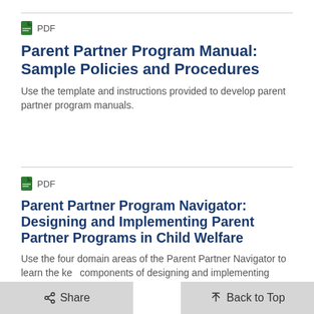PDF
Parent Partner Program Manual: Sample Policies and Procedures
Use the template and instructions provided to develop parent partner program manuals.
PDF
Parent Partner Program Navigator: Designing and Implementing Parent Partner Programs in Child Welfare
Use the four domain areas of the Parent Partner Navigator to learn the key components of designing and implementing successful parent...
Share   Back to Top